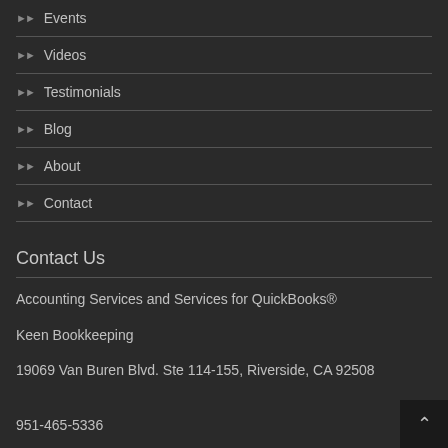Events
Videos
Testimonials
Blog
About
Contact
Contact Us
Accounting Services and Services for QuickBooks®
Keen Bookkeeping
19069 Van Buren Blvd. Ste 114-155, Riverside, CA 92508
951-465-5336